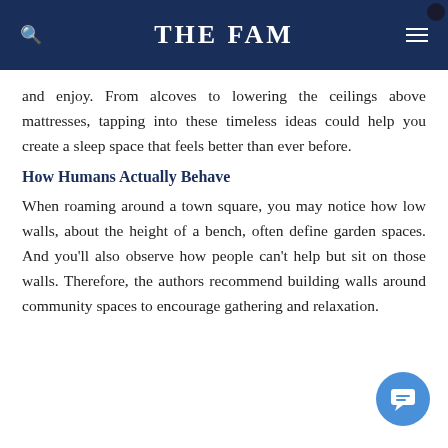THE FAM
and enjoy. From alcoves to lowering the ceilings above mattresses, tapping into these timeless ideas could help you create a sleep space that feels better than ever before.
How Humans Actually Behave
When roaming around a town square, you may notice how low walls, about the height of a bench, often define garden spaces. And you'll also observe how people can't help but sit on those walls. Therefore, the authors recommend building walls around community spaces to encourage gathering and relaxation.